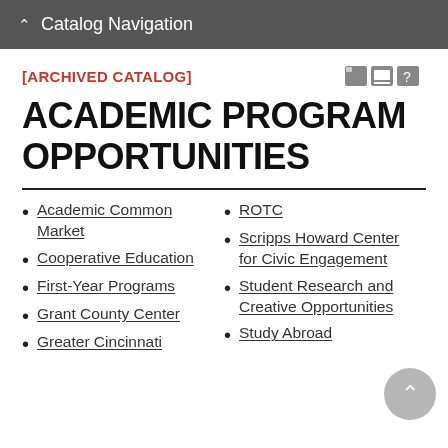Catalog Navigation
[ARCHIVED CATALOG]
ACADEMIC PROGRAM OPPORTUNITIES
Academic Common Market
Cooperative Education
First-Year Programs
Grant County Center
Greater Cincinnati
ROTC
Scripps Howard Center for Civic Engagement
Student Research and Creative Opportunities
Study Abroad